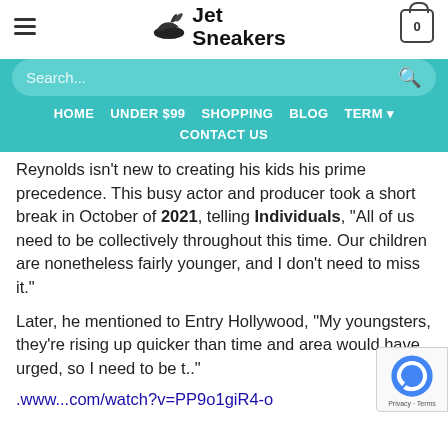Jet Sneakers
Search...
HOME   UNDER $99   SHOPPING   BLOG   TERM   CONTACT US
Reynolds isn't new to creating his kids his prime precedence. This busy actor and producer took a short break in October of 2021, telling Individuals, "All of us need to be collectively throughout this time. Our children are nonetheless fairly younger, and I don't need to miss it."
Later, he mentioned to Entry Hollywood, "My youngsters, they're rising up quicker than time and area would have urged, so I need to be t.."
.www...com/watch?v=PP9o1giR4-o